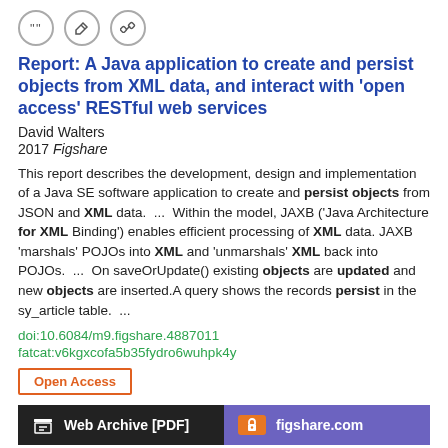[Figure (other): Three icon buttons: quote, edit, link]
Report: A Java application to create and persist objects from XML data, and interact with 'open access' RESTful web services
David Walters
2017 Figshare
This report describes the development, design and implementation of a Java SE software application to create and persist objects from JSON and XML data.  ...  Within the model, JAXB ('Java Architecture for XML Binding') enables efficient processing of XML data. JAXB 'marshals' POJOs into XML and 'unmarshals' XML back into POJOs.  ...  On saveOrUpdate() existing objects are updated and new objects are inserted.A query shows the records persist in the sy_article table.  ...
doi:10.6084/m9.figshare.4887011
fatcat:v6kgxcofa5b35fydro6wuhpk4y
Open Access
Web Archive [PDF]
figshare.com
[Figure (other): Three icon buttons at the bottom of the page]